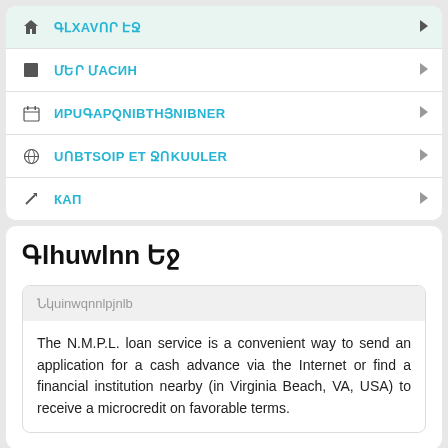ԳԼԽAVՈՐ ԷՋ
ՄԵՐ ՄԱՍԻՆ
ԻՐԱԴARՁՈBTHՅOIYNNER
UՈBTSՈIP ET ՋՈKUULER
КАП
Գlhuwlnn Եջ
Նկuinwqnnlpjnlb
The N.M.P.L. loan service is a convenient way to send an application for a cash advance via the Internet or find a financial institution nearby (in Virginia Beach, VA, USA) to receive a microcredit on favorable terms.